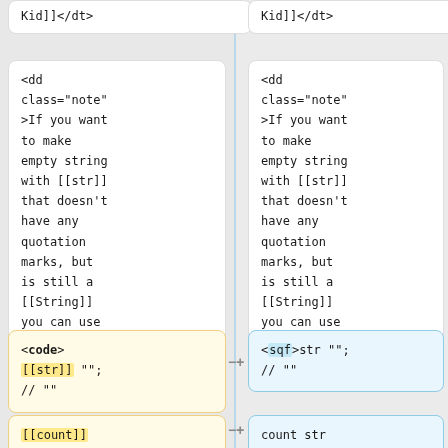Kid]]</dt>
Kid]]</dt>
<dd class="note">If you want to make empty string with [[str]] that doesn't have any quotation marks, but is still a [[String]] you can use [[text]]:
<dd class="note">If you want to make empty string with [[str]] that doesn't have any quotation marks, but is still a [[String]] you can use [[text]]:
<code>
[[str]] "";
// ""
<sqf>str "";
// ""
[[count]]
[[str]] "";
count str
""; // 2